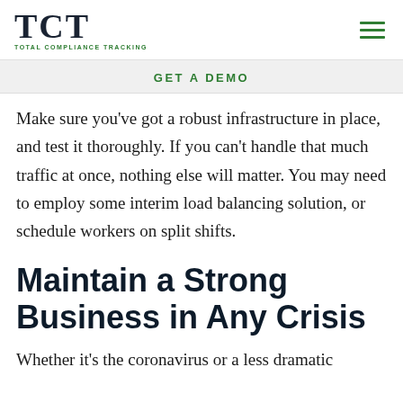TCT TOTAL COMPLIANCE TRACKING
GET A DEMO
Make sure you've got a robust infrastructure in place, and test it thoroughly. If you can't handle that much traffic at once, nothing else will matter. You may need to employ some interim load balancing solution, or schedule workers on split shifts.
Maintain a Strong Business in Any Crisis
Whether it's the coronavirus or a less dramatic